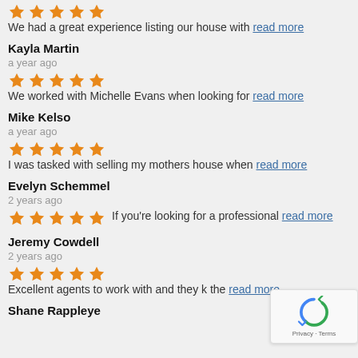We had a great experience listing our house with read more
Kayla Martin
a year ago
We worked with Michelle Evans when looking for read more
Mike Kelso
a year ago
I was tasked with selling my mothers house when read more
Evelyn Schemmel
2 years ago
If you're looking for a professional read more
Jeremy Cowdell
2 years ago
Excellent agents to work with and they k... the read more
Shane Rappleye